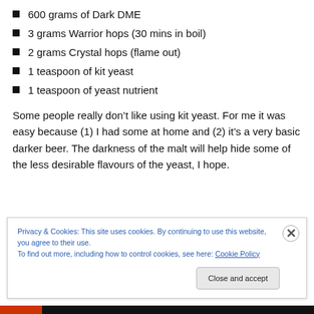600 grams of Dark DME
3 grams Warrior hops (30 mins in boil)
2 grams Crystal hops (flame out)
1 teaspoon of kit yeast
1 teaspoon of yeast nutrient
Some people really don’t like using kit yeast. For me it was easy because (1) I had some at home and (2) it’s a very basic darker beer. The darkness of the malt will help hide some of the less desirable flavours of the yeast, I hope.
Privacy & Cookies: This site uses cookies. By continuing to use this website, you agree to their use.
To find out more, including how to control cookies, see here: Cookie Policy